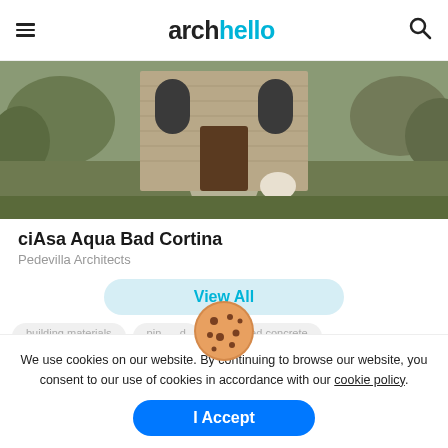archello
[Figure (photo): Exterior photo of ciAsa Aqua Bad Cortina building — stone/brick facade, arched windows, landscaped lawn with trees]
ciAsa Aqua Bad Cortina
Pedevilla Architects
View All
building materials   pin___d   exposed concrete
We use cookies on our website. By continuing to browse our website, you consent to our use of cookies in accordance with our cookie policy.
I Accept